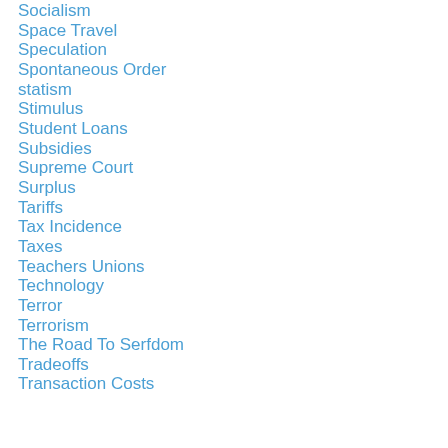Socialism
Space Travel
Speculation
Spontaneous Order
statism
Stimulus
Student Loans
Subsidies
Supreme Court
Surplus
Tariffs
Tax Incidence
Taxes
Teachers Unions
Technology
Terror
Terrorism
The Road To Serfdom
Tradeoffs
Transaction Costs